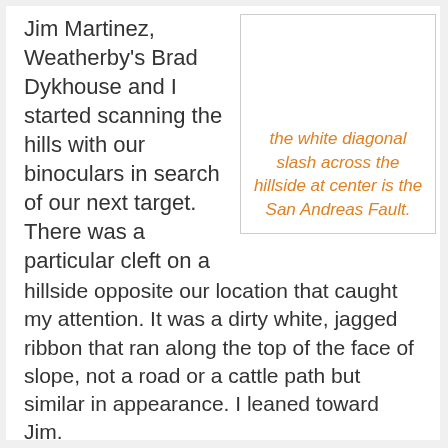Jim Martinez, Weatherby's Brad Dykhouse and I started scanning the hills with our binoculars in search of our next target. There was a particular cleft on a hillside opposite our location that caught my attention. It was a dirty white, jagged ribbon that ran along the top of the face of slope, not a road or a cattle path but similar in appearance. I leaned toward Jim.
the white diagonal slash across the hillside at center is the San Andreas Fault.
"What's that mark on the hill over there?" I pointed at the scar that ran along the mountain.
"That's a fault line."